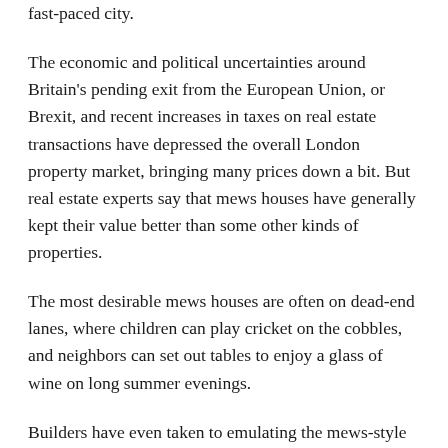fast-paced city.
The economic and political uncertainties around Britain's pending exit from the European Union, or Brexit, and recent increases in taxes on real estate transactions have depressed the overall London property market, bringing many prices down a bit. But real estate experts say that mews houses have generally kept their value better than some other kinds of properties.
The most desirable mews houses are often on dead-end lanes, where children can play cricket on the cobbles, and neighbors can set out tables to enjoy a glass of wine on long summer evenings.
Builders have even taken to emulating the mews-style housing, although some real estate agents dismiss such efforts. Calling a new development a mews is “sort of like estate agents putting ‘village’ on areas: It’s, in essence, a way to create a quirkiness, or an intrigue,” said Marlon Lloyd Malcolm, the head of sales for the real estate agency Lurot